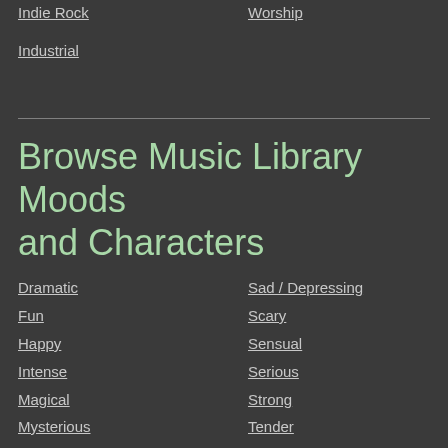Indie Rock
Industrial
Worship
Browse Music Library Moods and Characters
Dramatic
Fun
Happy
Intense
Magical
Mysterious
Peaceful
Playful
Sad / Depressing
Scary
Sensual
Serious
Strong
Tender
Uplifting